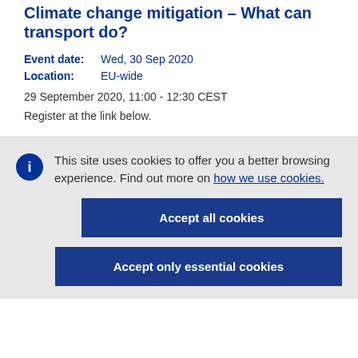Climate change mitigation – What can transport do?
Event date:   Wed, 30 Sep 2020
Location:   EU-wide
29 September 2020, 11:00 - 12:30 CEST
Register at the link below.
This site uses cookies to offer you a better browsing experience. Find out more on how we use cookies.
Accept all cookies
Accept only essential cookies